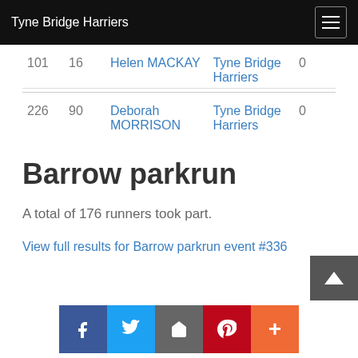Tyne Bridge Harriers
| Position | Runs | Name | Club | Time |
| --- | --- | --- | --- | --- |
| 101 | 16 | Helen MACKAY | Tyne Bridge Harriers | 0:… |
| 226 | 90 | Deborah MORRISON | Tyne Bridge Harriers | 0:… |
Barrow parkrun
A total of 176 runners took part.
View full results for Barrow parkrun event #336